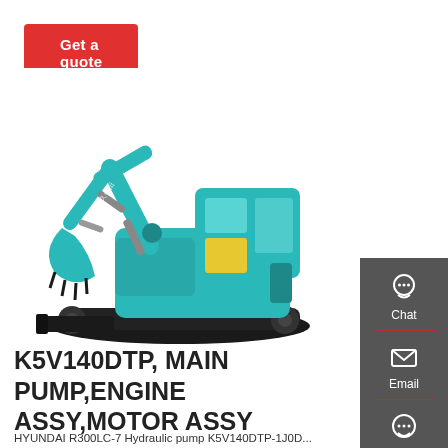[Figure (other): Red 'Get a quote' button at the top left of the page]
[Figure (photo): Teal/blue Kubota mini excavator with black undercarriage and bucket attachment, shown on white background]
[Figure (other): Dark grey sidebar on the right with Chat, Email, and Contact icons in white, separated by red dividers]
K5V140DTP, MAIN PUMP,ENGINE ASSY,MOTOR ASSY
HYUNDAI R300LC-7 Hydraulic pump K5V140DTP-1J0D...